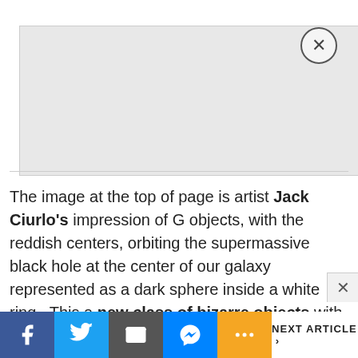[Figure (other): Gray advertisement banner area with a circular close button (X) in the top right corner]
The image at the top of page is artist Jack Ciurlo's impression of G objects, with the reddish centers, orbiting the supermassive black hole at the center of our galaxy represented as a dark sphere inside a white ring.  This a new class of bizarre objects with orbits ranging from about 100 to 1,000 years at the center of our galaxy, not far from Sagittarius A* that look compact most of the time and stretch out when their orbits bring
Facebook | Twitter | Email | Messenger | More | NEXT ARTICLE >